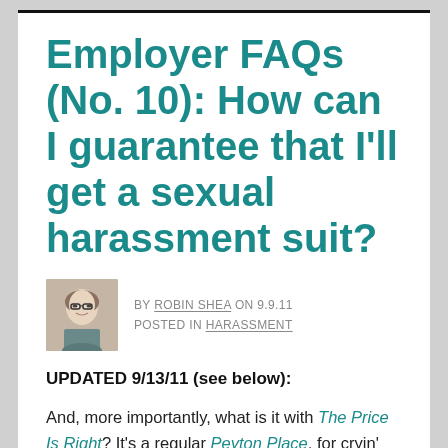Employer FAQs (No. 10): How can I guarantee that I'll get a sexual harassment suit?
BY ROBIN SHEA ON 9.9.11 POSTED IN HARASSMENT
UPDATED 9/13/11 (see below):
And, more importantly, what is it with The Price Is Right? It's a regular Peyton Place, for cryin' out loud.